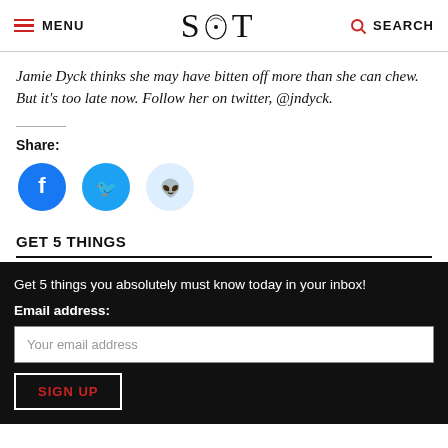MENU | S T | SEARCH
Jamie Dyck thinks she may have bitten off more than she can chew. But it's too late now. Follow her on twitter, @jndyck.
Share:
[Figure (infographic): Three social share buttons: Facebook (blue circle), Twitter (blue circle), Reddit (light blue circle)]
GET 5 THINGS
Get 5 things you absolutely must know today in your inbox!
Email address:
Your email address
SIGN UP